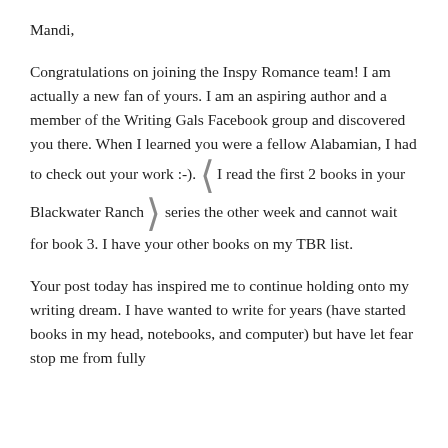Mandi,
Congratulations on joining the Inspy Romance team! I am actually a new fan of yours. I am an aspiring author and a member of the Writing Gals Facebook group and discovered you there. When I learned you were a fellow Alabamian, I had to check out your work :-). I read the first 2 books in your Blackwater Ranch series the other week and cannot wait for book 3. I have your other books on my TBR list.
Your post today has inspired me to continue holding onto my writing dream. I have wanted to write for years (have started books in my head, notebooks, and computer) but have let fear stop me from fully